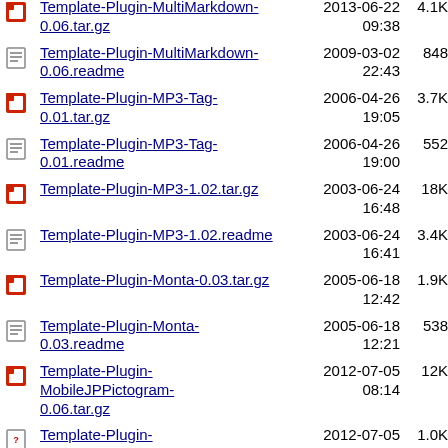Template-Plugin-MultiMarkdown-0.06.tar.gz  2013-06-22 09:38  4.1K
Template-Plugin-MultiMarkdown-0.06.readme  2009-03-02 22:43  848
Template-Plugin-MP3-Tag-0.01.tar.gz  2006-04-26 19:05  3.7K
Template-Plugin-MP3-Tag-0.01.readme  2006-04-26 19:00  552
Template-Plugin-MP3-1.02.tar.gz  2003-06-24 16:48  18K
Template-Plugin-MP3-1.02.readme  2003-06-24 16:41  3.4K
Template-Plugin-Monta-0.03.tar.gz  2005-06-18 12:42  1.9K
Template-Plugin-Monta-0.03.readme  2005-06-18 12:21  538
Template-Plugin-MobileJPPictogram-0.06.tar.gz  2012-07-05 08:14  12K
Template-Plugin-MobileJPPictogram-0.06.readme  2012-07-05 08:07  1.0K
Template-Plugin-MobileAgent-0.01.tar.gz  2002-11-13 18:09  1.2K
Template-Plugin-MIME-0.12.tar.gz  2014-05-15  6.4K